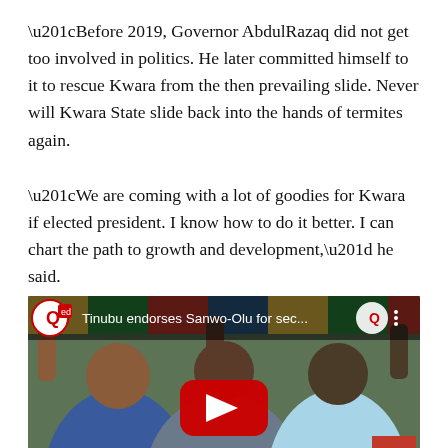“Before 2019, Governor AbdulRazaq did not get too involved in politics. He later committed himself to it to rescue Kwara from the then prevailing slide. Never will Kwara State slide back into the hands of termites again.
“We are coming with a lot of goodies for Kwara if elected president. I know how to do it better. I can chart the path to growth and development,” he said.
[Figure (screenshot): YouTube video thumbnail showing three men in traditional Nigerian attire raising hands together at a political event. Video title reads 'Tinubu endorses Sanwo-Olu for sec...' with a red YouTube play button overlay. A 'back to top' button appears in the bottom right corner.]